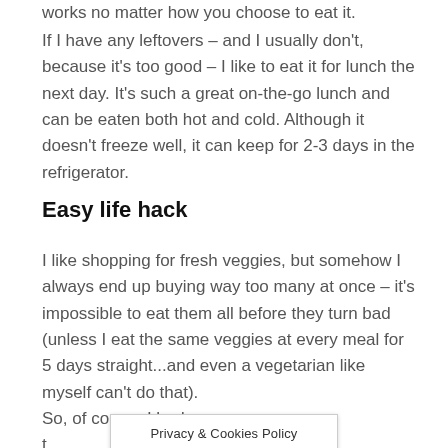works no matter how you choose to eat it.
If I have any leftovers – and I usually don't, because it's too good – I like to eat it for lunch the next day. It's such a great on-the-go lunch and can be eaten both hot and cold. Although it doesn't freeze well, it can keep for 2-3 days in the refrigerator.
Easy life hack
I like shopping for fresh veggies, but somehow I always end up buying way too many at once – it's impossible to eat them all before they turn bad (unless I eat the same veggies at every meal for 5 days straight...and even a vegetarian like myself can't do that).
So, of course I had t… mple ways
Privacy & Cookies Policy